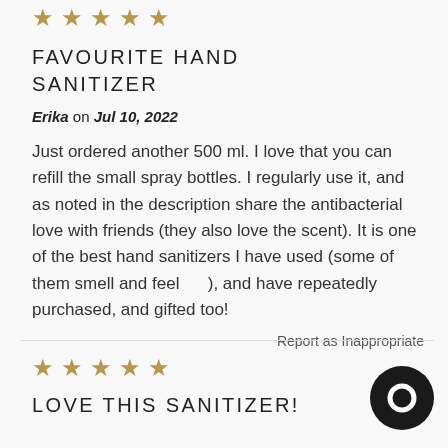[Figure (other): 5 gold star rating icons]
FAVOURITE HAND SANITIZER
Erika on Jul 10, 2022
Just ordered another 500 ml. I love that you can refill the small spray bottles. I regularly use it, and as noted in the description share the antibacterial love with friends (they also love the scent). It is one of the best hand sanitizers I have used (some of them smell and feel     ), and have repeatedly purchased, and gifted too!
Report as Inappropriate
[Figure (other): 5 gold star rating icons]
LOVE THIS SANITIZER!